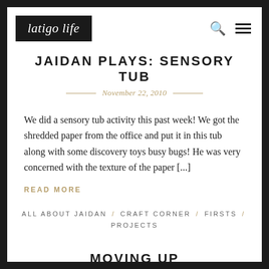latigo life
JAIDAN PLAYS: SENSORY TUB
November 22, 2010
We did a sensory tub activity this past week! We got the shredded paper from the office and put it in this tub along with some discovery toys busy bugs! He was very concerned with the texture of the paper [...]
READ MORE
ALL ABOUT JAIDAN / CRAFT CORNER / FIRSTS / PROJECTS
MOVING UP